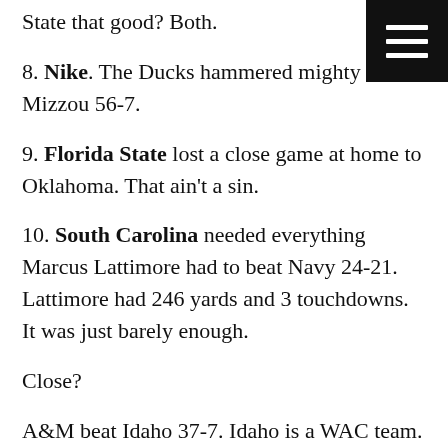State that good? Both.
8. Nike. The Ducks hammered mighty Mizzou 56-7.
9. Florida State lost a close game at home to Oklahoma. That ain't a sin.
10. South Carolina needed everything Marcus Lattimore had to beat Navy 24-21. Lattimore had 246 yards and 3 touchdowns. It was just barely enough.
Close?
A&M beat Idaho 37-7. Idaho is a WAC team. The WAC is currently 1-7 against BCS teams, 0-7 against other conferences, and 4-1 against FCS schools. Friiiiyyyy...oucky. Vandals.